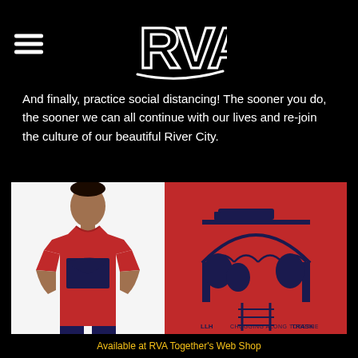RVA (logo)
And finally, practice social distancing! The sooner you do, the sooner we can all continue with our lives and re-join the culture of our beautiful River City.
[Figure (photo): A man wearing a red t-shirt with a navy blue graphic print design on the chest (left), next to a close-up of the same graphic design on a red background — a bridge/railroad scene with 'LLH', 'CHUGGING ALONG TOGETHER', and 'TRASK' text at the bottom.]
Available at RVA Together's Web Shop